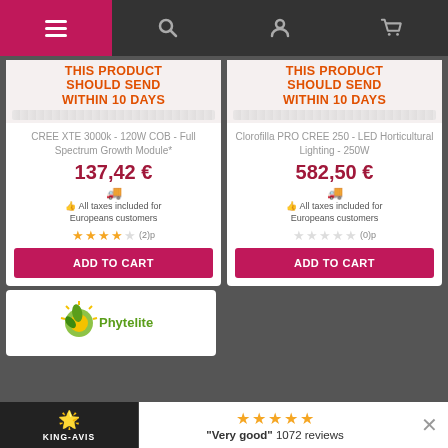Navigation bar with menu, search, account, and cart icons
THIS PRODUCT SHOULD SEND WITHIN 10 DAYS
THIS PRODUCT SHOULD SEND WITHIN 10 DAYS
CREE XTE 3000k - 120W COB - Full Spectrum Growth Module*
Clorofilla PRO CREE 250 - LED Horticultural Lighting - 250W
137,42 €
582,50 €
All taxes included for Europeans customers
All taxes included for Europeans customers
(2)p
(0)p
ADD TO CART
ADD TO CART
[Figure (logo): Phytelite logo - green plant and sun graphic with text]
"Very good" 1072 reviews